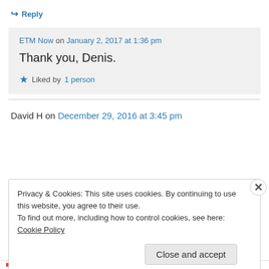↪ Reply
ETM Now on January 2, 2017 at 1:36 pm
Thank you, Denis.
★ Liked by 1 person
David H on December 29, 2016 at 3:45 pm
Privacy & Cookies: This site uses cookies. By continuing to use this website, you agree to their use.
To find out more, including how to control cookies, see here: Cookie Policy
Close and accept